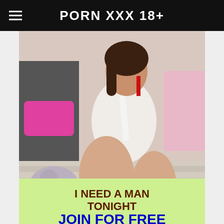PORN XXX 18+
[Figure (photo): A woman in a white sleeveless top with a white tie and gray mini skirt, wearing striped knee-high socks, seated on a bed with pink pillows in the background. An advertisement overlay at the bottom reads 'I NEED A MAN TONIGHT' and 'JOIN FOR FREE'.]
I NEED A MAN TONIGHT
JOIN FOR FREE